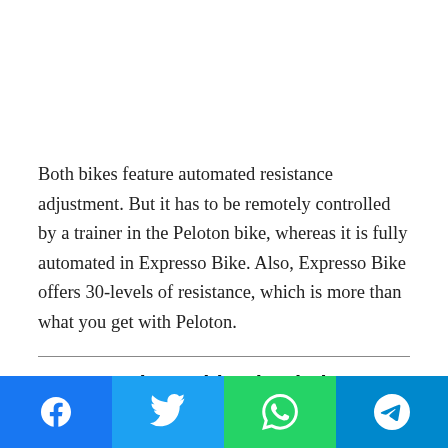Both bikes feature automated resistance adjustment. But it has to be remotely controlled by a trainer in the Peloton bike, whereas it is fully automated in Expresso Bike. Also, Expresso Bike offers 30-levels of resistance, which is more than what you get with Peloton.
Outdoor Ride Simulation